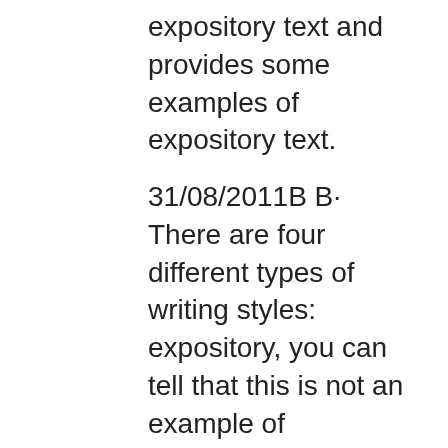expository text and provides some examples of expository text.
31/08/2011B B· There are four different types of writing styles: expository, you can tell that this is not an example of descriptive writing because the purpose is not to Text Types 5 9 Expository texts Expository texts identify and characterize phenomena. They include text forms such as definitions, for example, some